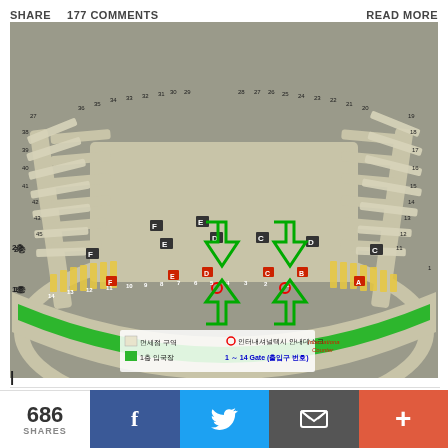SHARE   177 COMMENTS   READ MORE
[Figure (map): Airport terminal map of Incheon International Airport showing gates 1-14, duty-free zones, 1F arrival hall (green band), international taxi information desks (red circles), and terminal wings labeled A-F with gate numbers 1-45 on left and 1-41 on right. Green arrows indicate directions to 1F arrival. Legend: white=면세점 구역 (duty-free zone), green=1층 입국장 (1F arrival hall), 1~14 Gate (출입구 번호).]
686 SHARES
2층
1층